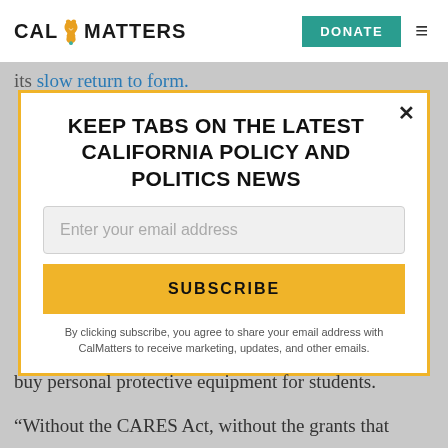CAL MATTERS | DONATE
its slow return to form.
KEEP TABS ON THE LATEST CALIFORNIA POLICY AND POLITICS NEWS
Enter your email address
SUBSCRIBE
By clicking subscribe, you agree to share your email address with CalMatters to receive marketing, updates, and other emails.
buy personal protective equipment for students.
“Without the CARES Act, without the grants that